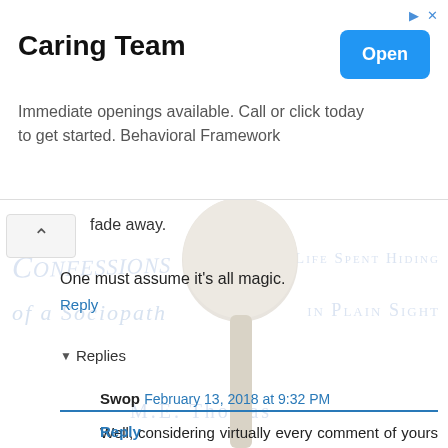[Figure (screenshot): Advertisement banner for 'Caring Team' with Open button. Text: 'Caring Team. Immediate openings available. Call or click today to get started. Behavioral Framework']
fade away.
One must assume it's all magic.
Reply
Replies
Swop February 13, 2018 at 9:32 PM
Well, considering virtually every comment of yours I've ever seen has been ignored...as well as your blog AND your book, I'm gonna assume the magic doesn't work.
Wisdom.
Reply